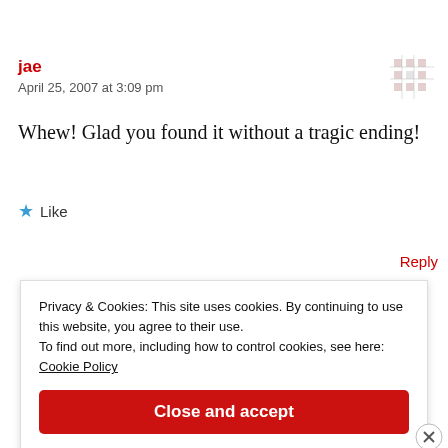jae
April 25, 2007 at 3:09 pm
[Figure (other): Avatar icon - decorative grid/pixel pattern in muted red/gray]
Whew! Glad you found it without a tragic ending!
★ Like
Reply
Privacy & Cookies: This site uses cookies. By continuing to use this website, you agree to their use.
To find out more, including how to control cookies, see here:
Cookie Policy
Close and accept